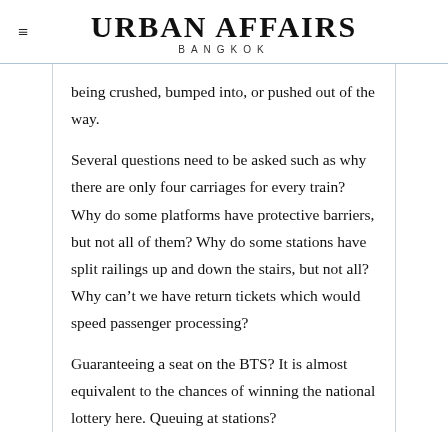URBAN AFFAIRS BANGKOK
being crushed, bumped into, or pushed out of the way.
Several questions need to be asked such as why there are only four carriages for every train? Why do some platforms have protective barriers, but not all of them? Why do some stations have split railings up and down the stairs, but not all? Why can't we have return tickets which would speed passenger processing?
Guaranteeing a seat on the BTS? It is almost equivalent to the chances of winning the national lottery here. Queuing at stations?